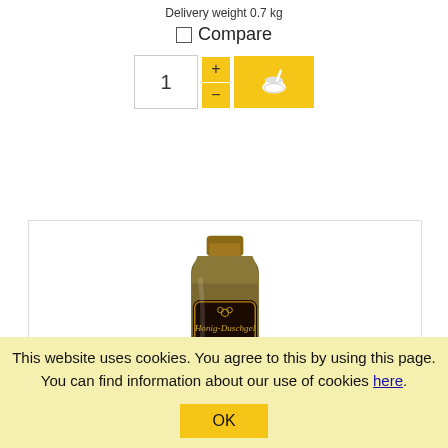Delivery weight 0.7 kg
Compare
[Figure (photo): A bottle of Honig-Duschgel (honey shower gel), 300ml, with a dark label and gold cap]
This website uses cookies. You agree to this by using this page. You can find information about our use of cookies here.